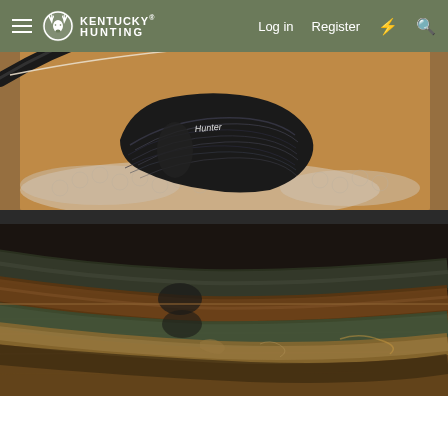Kentucky Hunting — Log in  Register
[Figure (photo): A black laminated recurve bow riser labeled 'Hunter' laid in a cardboard/bubble wrap box, viewed from above. The bow limbs sweep dramatically with a cream-colored string visible.]
[Figure (photo): Multiple recurve bow risers stacked on a wooden shelf or rack, showing various wood laminates including walnut, olive, and green/black laminate combinations.]